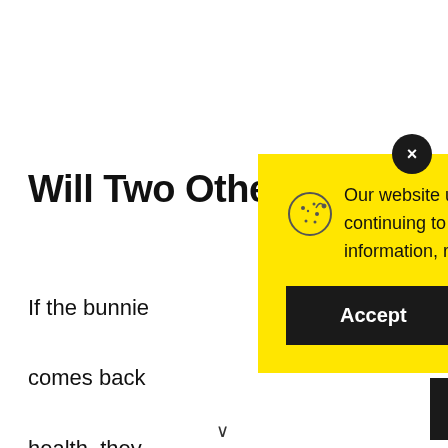Will Two Other?
If the bunnie comes back health, they
[Figure (infographic): Cookie consent modal with yellow background, cookie icon, explanatory text about website cookie usage, and an Accept button. A dark circular close button (×) appears at the top-right corner.]